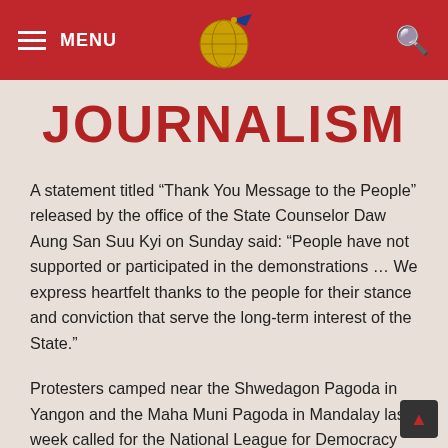MENU | [globe logo] | [search icon]
JOURNALISM
A statement titled “Thank You Message to the People” released by the office of the State Counselor Daw Aung San Suu Kyi on Sunday said: “People have not supported or participated in the demonstrations … We express heartfelt thanks to the people for their stance and conviction that serve the long-term interest of the State.”
Protesters camped near the Shwedagon Pagoda in Yangon and the Maha Muni Pagoda in Mandalay last week called for the National League for Democracy (NLD)-led